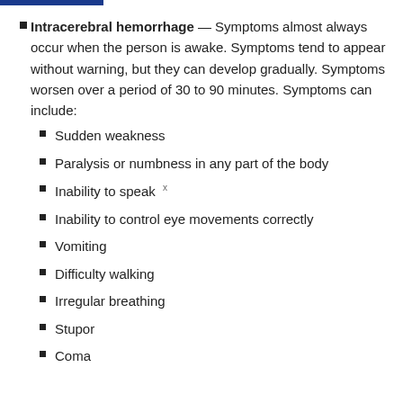Intracerebral hemorrhage — Symptoms almost always occur when the person is awake. Symptoms tend to appear without warning, but they can develop gradually. Symptoms worsen over a period of 30 to 90 minutes. Symptoms can include:
Sudden weakness
Paralysis or numbness in any part of the body
Inability to speak
Inability to control eye movements correctly
Vomiting
Difficulty walking
Irregular breathing
Stupor
Coma